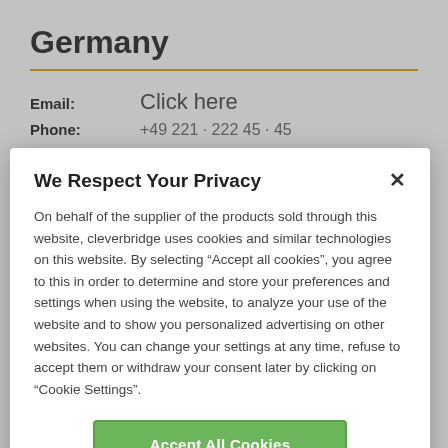Germany
Email:	Click here
Phone:	+49 221 · 222 45 · 45
We Respect Your Privacy
On behalf of the supplier of the products sold through this website, cleverbridge uses cookies and similar technologies on this website. By selecting "Accept all cookies", you agree to this in order to determine and store your preferences and settings when using the website, to analyze your use of the website and to show you personalized advertising on other websites. You can change your settings at any time, refuse to accept them or withdraw your consent later by clicking on "Cookie Settings".
Accept All Cookies
Cookie Settings